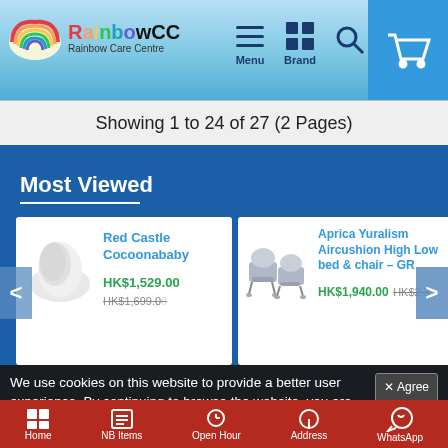RainbowCC Rainbow Care Centre — Menu, Brand, Search, Cart
Showing 1 to 24 of 27 (2 Pages)
Most Viewed
[Figure (photo): Red Castle Cocoonababy product image — white ergonomic baby nest]
Red Castle Cocoonababy
HK$1,529.00  HK$1,699.00
[Figure (photo): Aprica Yuralism Aircushion High Low bed & chair – GR product image]
Aprica Yuralism Aircushion High Low bed & chair – GR
HK$1,940.00  HK$2,3XX
We use cookies on this website to provide a better user experience. By continuing to browse the website, you are giving your consent to receive cookies on this site. For more details please read our Privacy-Policy
Home   NB Items   Open Hour   Address   WhatsApp